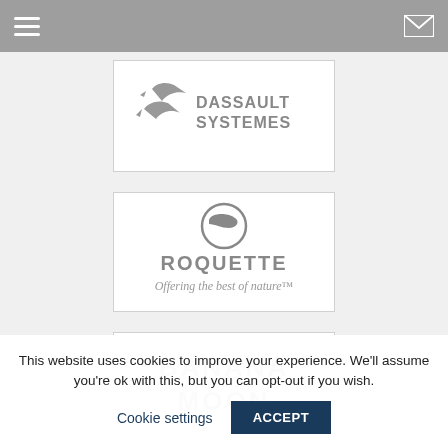[Figure (logo): Navigation bar with hamburger menu icon and mail/envelope icon on a grey background]
[Figure (logo): Dassault Systemes logo in grey on white card background, showing the DS swoosh symbol and DASSAULT SYSTEMES wordmark]
[Figure (logo): Roquette logo in grey on white card background, showing circular icon and text ROQUETTE - Offering the best of nature]
[Figure (logo): Banana Moon logo in grey on white card background, showing BANANA MOON text partially visible]
This website uses cookies to improve your experience. We'll assume you're ok with this, but you can opt-out if you wish.
Cookie settings
ACCEPT